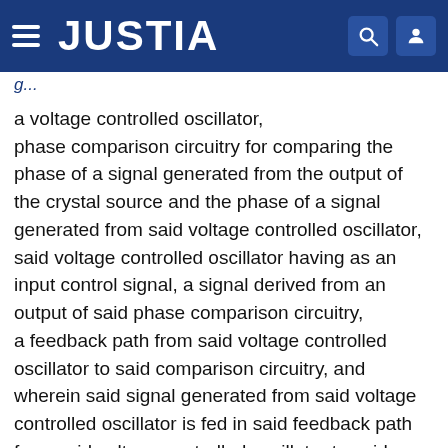JUSTIA
a voltage controlled oscillator, phase comparison circuitry for comparing the phase of a signal generated from the output of the crystal source and the phase of a signal generated from said voltage controlled oscillator, said voltage controlled oscillator having as an input control signal, a signal derived from an output of said phase comparison circuitry, a feedback path from said voltage controlled oscillator to said comparison circuitry, and wherein said signal generated from said voltage controlled oscillator is fed in said feedback path from said voltage controlled oscillator to said comparison circuitry, and said feedback path includes circuitry to block, in response to one condition of the output signal of said monitor